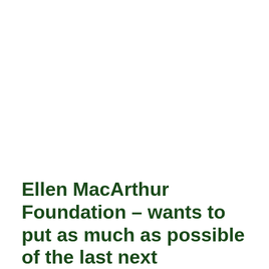Ellen MacArthur Foundation – wants to put as much as possible of the last next